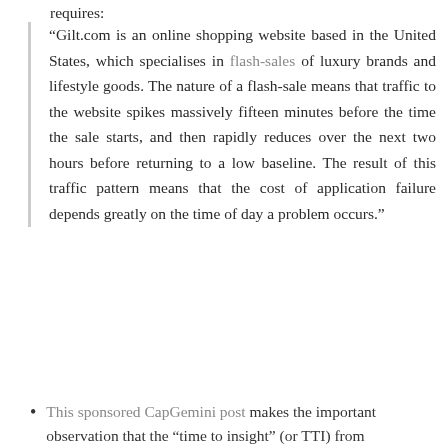requires:
“Gilt.com is an online shopping website based in the United States, which specialises in flash-sales of luxury brands and lifestyle goods. The nature of a flash-sale means that traffic to the website spikes massively fifteen minutes before the time the sale starts, and then rapidly reduces over the next two hours before returning to a low baseline. The result of this traffic pattern means that the cost of application failure depends greatly on the time of day a problem occurs.”
This sponsored CapGemini post makes the important observation that the “time to insight” (or TTI) from